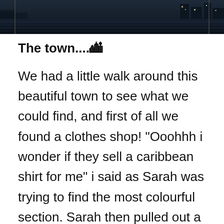[Figure (photo): Dark waterfront/harbour photo strip at the top of the page showing water and buildings at night or dusk]
The town....🏙
We had a little walk around this beautiful town to see what we could find, and first of all we found a clothes shop! “Ooohhh i wonder if they sell a caribbean shirt for me” i said as Sarah was trying to find the most colourful section. Sarah then pulled out a fantastic orange and black shirt with Curacao written all over it (see image lower down). “Yes i’ll have that